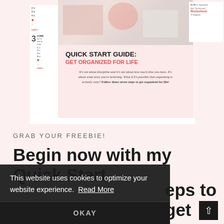[Figure (screenshot): Screenshot of a website showing a Quick Start Guide page with left sidebar numbered steps, a pink content card, and a photo strip at the top]
QUICK START GUIDE:
GET ORGANIZED FOR LIFE
It's not about discipline and it's not about how much time you have. It's about what story you're believing. What if it's possible that organizing is actually easy? Follow these seven steps to get organized for life!
GRAB YOUR FREEBIE!
Begin now with my Quick Start
eps to get
Plus, you'll get access to a short video where I
This website uses cookies to optimize your website experience.  Read More
OKAY